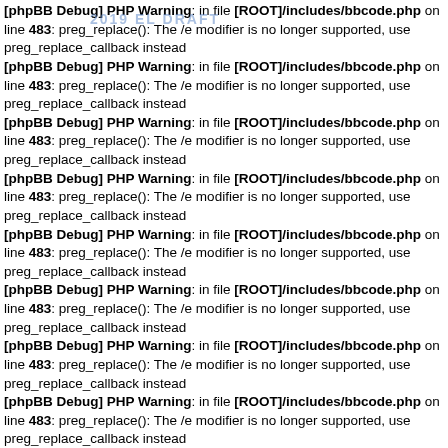2019 EL DRAFT
[phpBB Debug] PHP Warning: in file [ROOT]/includes/bbcode.php on line 483: preg_replace(): The /e modifier is no longer supported, use preg_replace_callback instead
[phpBB Debug] PHP Warning: in file [ROOT]/includes/bbcode.php on line 483: preg_replace(): The /e modifier is no longer supported, use preg_replace_callback instead
[phpBB Debug] PHP Warning: in file [ROOT]/includes/bbcode.php on line 483: preg_replace(): The /e modifier is no longer supported, use preg_replace_callback instead
[phpBB Debug] PHP Warning: in file [ROOT]/includes/bbcode.php on line 483: preg_replace(): The /e modifier is no longer supported, use preg_replace_callback instead
[phpBB Debug] PHP Warning: in file [ROOT]/includes/bbcode.php on line 483: preg_replace(): The /e modifier is no longer supported, use preg_replace_callback instead
[phpBB Debug] PHP Warning: in file [ROOT]/includes/bbcode.php on line 483: preg_replace(): The /e modifier is no longer supported, use preg_replace_callback instead
[phpBB Debug] PHP Warning: in file [ROOT]/includes/bbcode.php on line 483: preg_replace(): The /e modifier is no longer supported, use preg_replace_callback instead
[phpBB Debug] PHP Warning: in file [ROOT]/includes/bbcode.php on line 483: preg_replace(): The /e modifier is no longer supported, use preg_replace_callback instead
[phpBB Debug] PHP Warning: in file [ROOT]/includes/bbcode.php on line 483: preg_replace(): The /e modifier is no longer supported, use preg_replace_callback instead
[phpBB Debug] PHP Warning: in file [ROOT]/includes/bbcode.php on line 483: preg_replace(): The /e modifier is no longer supported, use